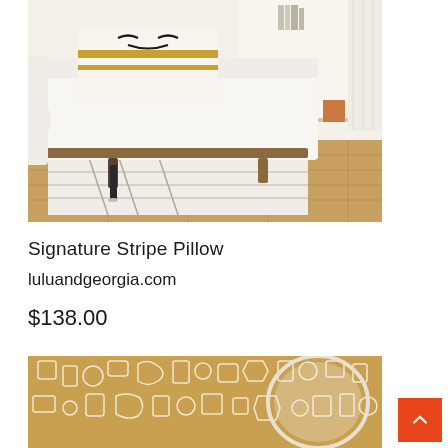[Figure (photo): A white sofa/chaise with wooden frame, decorative striped pillow with face design, on a patterned rug with hardwood floor and shelving in background]
Signature Stripe Pillow
luluandgeorgia.com
$138.00
[Figure (photo): Partial view of a room with gold/tan patterned wallpaper featuring abstract shapes and a round mirror]